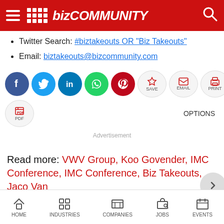Bizcommunity
Twitter Search: #biztakeouts OR "Biz Takeouts"
Email: biztakeouts@bizcommunity.com
[Figure (screenshot): Social media share buttons row: Facebook, Twitter, LinkedIn, WhatsApp, Pinterest circles, plus SAVE, EMAIL, PRINT action buttons and NEXT button. Second row: PDF button and OPTIONS label.]
Advertisement
Read more: VWV Group, Koo Govender, IMC Conference, IMC Conference, Biz Takeouts, Jaco Van
HOME   INDUSTRIES   COMPANIES   JOBS   EVENTS